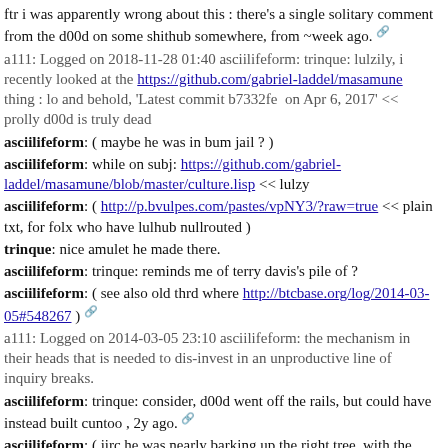ftr i was apparently wrong about this : there's a single solitary comment from the d00d on some shithub somewhere, from ~week ago. [anchor]
a111: Logged on 2018-11-28 01:40 asciilifeform: trinque: lulzily, i recently looked at the https://github.com/gabriel-laddel/masamune thing : lo and behold, 'Latest commit b7332fe  on Apr 6, 2017' << prolly d00d is truly dead
asciilifeform: ( maybe he was in bum jail ? )
asciilifeform: while on subj: https://github.com/gabriel-laddel/masamune/blob/master/culture.lisp << lulzy
asciilifeform: ( http://p.bvulpes.com/pastes/vpNY3/?raw=true << plain txt, for folx who have lulhub nullrouted )
trinque: nice amulet he made there.
asciilifeform: trinque: reminds me of terry davis's pile of ?
asciilifeform: ( see also old thrd where http://btcbase.org/log/2014-03-05#548267 ) [anchor]
a111: Logged on 2014-03-05 23:10 asciilifeform: the mechanism in their heads that is needed to dis-invest in an unproductive line of inquiry breaks.
asciilifeform: trinque: consider, d00d went off the rails, but could have instead built cuntoo , 2y ago. [anchor]
asciilifeform: ( iirc he was nearly barking up the right tree, with the auto-builder thing )
asciilifeform: ohai amberglint
amberglint: Hello everyone